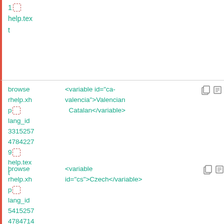| 1 [dashed] help.text |  |  |
| browse rhelp.xh p[dashed] lang_id 3315257 4784227 9[dashed] help.text | <variable id="ca-valencia">Valencian Catalan</variable> | [copy icons] |
| browse rhelp.xh p[dashed] lang_id 5415257 4784714 | <variable id="cs">Czech</variable> | [copy icons] |